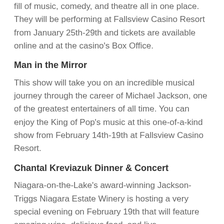fill of music, comedy, and theatre all in one place. They will be performing at Fallsview Casino Resort from January 25th-29th and tickets are available online and at the casino's Box Office.
Man in the Mirror
This show will take you on an incredible musical journey through the career of Michael Jackson, one of the greatest entertainers of all time. You can enjoy the King of Pop's music at this one-of-a-kind show from February 14th-19th at Fallsview Casino Resort.
Chantal Kreviazuk Dinner & Concert
Niagara-on-the-Lake's award-winning Jackson-Triggs Niagara Estate Winery is hosting a very special evening on February 19th that will feature amazing wine, delicious food, and live entertainment from Canadian singer-songwriter Chantal Kreviazuk. Only 120 tickets are available for this intimate evening, so make sure to book your tickets now to ensure you are a part of this spectacular event.
Chris Rock